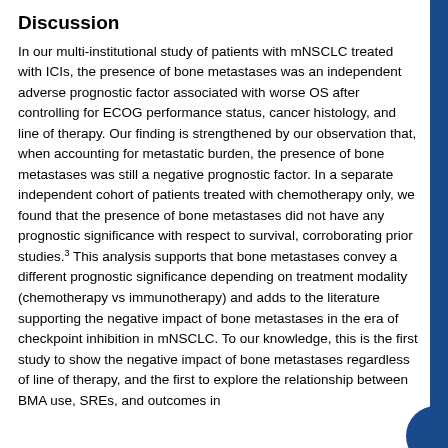Discussion
In our multi-institutional study of patients with mNSCLC treated with ICIs, the presence of bone metastases was an independent adverse prognostic factor associated with worse OS after controlling for ECOG performance status, cancer histology, and line of therapy. Our finding is strengthened by our observation that, when accounting for metastatic burden, the presence of bone metastases was still a negative prognostic factor. In a separate independent cohort of patients treated with chemotherapy only, we found that the presence of bone metastases did not have any prognostic significance with respect to survival, corroborating prior studies.3 This analysis supports that bone metastases convey a different prognostic significance depending on treatment modality (chemotherapy vs immunotherapy) and adds to the literature supporting the negative impact of bone metastases in the era of checkpoint inhibition in mNSCLC. To our knowledge, this is the first study to show the negative impact of bone metastases regardless of line of therapy, and the first to explore the relationship between BMA use, SREs, and outcomes in